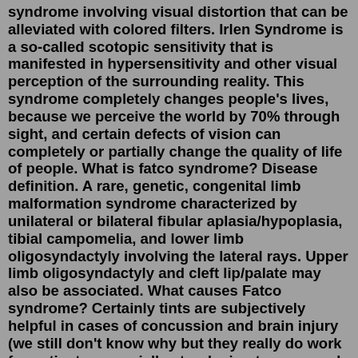syndrome involving visual distortion that can be alleviated with colored filters. Irlen Syndrome is a so-called scotopic sensitivity that is manifested in hypersensitivity and other visual perception of the surrounding reality. This syndrome completely changes people's lives, because we perceive the world by 70% through sight, and certain defects of vision can completely or partially change the quality of life of people. What is fatco syndrome? Disease definition. A rare, genetic, congenital limb malformation syndrome characterized by unilateral or bilateral fibular aplasia/hypoplasia, tibial campomelia, and lower limb oligosyndactyly involving the lateral rays. Upper limb oligosyndactyly and cleft lip/palate may also be associated. What causes Fatco syndrome? Certainly tints are subjectively helpful in cases of concussion and brain injury (we still don't know why but they really do work for patients, especially at reducing tremors and photophobia), but Irlen's sydrome and their proprietary lenses are bogus. We spent 10 minutes of one lecture talking about them,